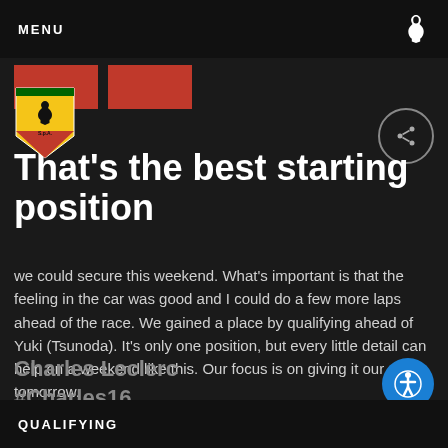MENU
[Figure (logo): Ferrari prancing horse logo and shield emblem]
That's the best starting position
we could secure this weekend. What's important is that the feeling in the car was good and I could do a few more laps ahead of the race. We gained a place by qualifying ahead of Yuki (Tsunoda). It's only one position, but every little detail can help on a weekend like this. Our focus is on giving it our all tomorrow.
Charles Leclerc
#Charles16
QUALIFYING